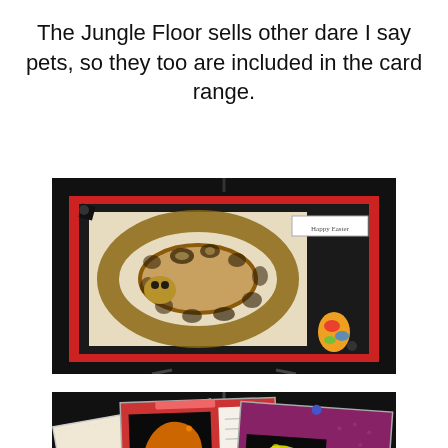The Jungle Floor sells other dare I say pets, so they too are included in the card range.
[Figure (photo): A greeting card displayed on an easel featuring a coiled ball python or similar snake on a red and black layered card background, with a 'Happy Easter' label in the top right corner and a colorful Easter egg decoration in the lower right.]
[Figure (photo): A display of multiple greeting cards featuring reptiles including what appears to be an orange/red lizard or chameleon on a dark background card, a gecko or similar reptile card, and other cards with reptile photography, arranged in an overlapping fan display against a dark background.]